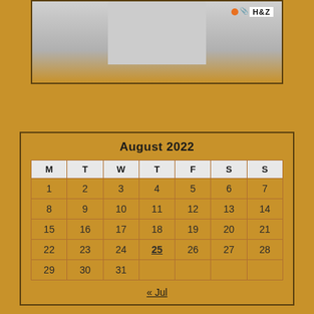[Figure (photo): Top portion of a person in white shirt, partial view, with H&Z logo watermark in top right corner]
| M | T | W | T | F | S | S |
| --- | --- | --- | --- | --- | --- | --- |
| 1 | 2 | 3 | 4 | 5 | 6 | 7 |
| 8 | 9 | 10 | 11 | 12 | 13 | 14 |
| 15 | 16 | 17 | 18 | 19 | 20 | 21 |
| 22 | 23 | 24 | 25 | 26 | 27 | 28 |
| 29 | 30 | 31 |  |  |  |  |
« Jul